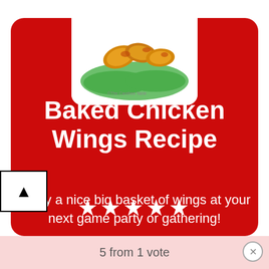[Figure (photo): Photo of baked chicken wings on lettuce leaves, white background]
Baked Chicken Wings Recipe
Enjoy a nice big basket of wings at your next game party or gathering!
★★★★★
5 from 1 vote